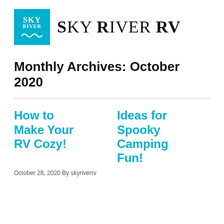[Figure (logo): Sky River RV logo: teal square with SKY RIVER text and wave, next to large serif text SKY RIVER RV]
Monthly Archives: October 2020
How to Make Your RV Cozy!
Ideas for Spooky Camping Fun!
October 28, 2020 By skyriverrv